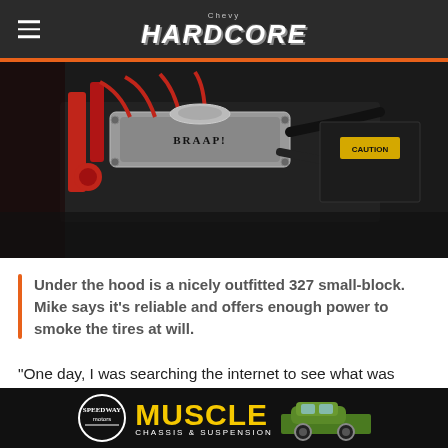Chevy Hardcore
[Figure (photo): Engine bay photo showing a 327 small-block engine with chrome valve covers, red spark plug wires, black hoses, and a yellow caution sticker on a black battery cover]
Under the hood is a nicely outfitted 327 small-block. Mike says it's reliable and offers enough power to smoke the tires at will.
“One day, I was searching the internet to see what was available, and I came across this car,” says Michael. “It was at a classic car warehouse in Maryville, Tennessee. I am fortunate that it was in
[Figure (advertisement): Speedway Motors advertisement banner - Muscle Chassis & Suspension with green muscle car]